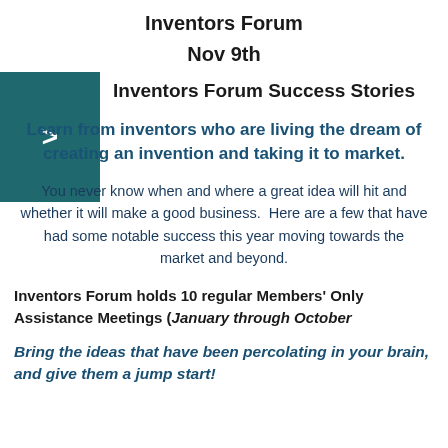Inventors Forum
Nov 9th
Inventors Forum Success Stories
Learn from inventors who are living the dream of creating an invention and taking it to market.
You never know when and where a great idea will hit and whether it will make a good business.  Here are a few that have had some notable success this year moving towards the market and beyond.
Inventors Forum holds 10 regular Members' Only Assistance Meetings (January through October
Bring the ideas that have been percolating in your brain, and give them a jump start!